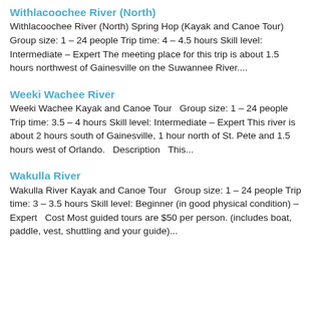Withlacoochee River (North)
Withlacoochee River (North) Spring Hop (Kayak and Canoe Tour) Group size: 1 – 24 people Trip time: 4 – 4.5 hours Skill level: Intermediate – Expert The meeting place for this trip is about 1.5 hours northwest of Gainesville on the Suwannee River....
Weeki Wachee River
Weeki Wachee Kayak and Canoe Tour   Group size: 1 – 24 people Trip time: 3.5 – 4 hours Skill level: Intermediate – Expert This river is about 2 hours south of Gainesville, 1 hour north of St. Pete and 1.5 hours west of Orlando.   Description   This...
Wakulla River
Wakulla River Kayak and Canoe Tour   Group size: 1 – 24 people Trip time: 3 – 3.5 hours Skill level: Beginner (in good physical condition) – Expert   Cost Most guided tours are $50 per person. (includes boat, paddle, vest, shuttling and your guide)...